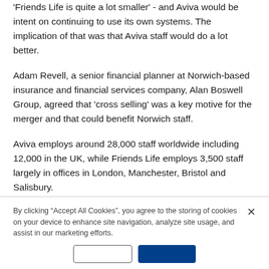'Friends Life is quite a lot smaller' - and Aviva would be intent on continuing to use its own systems. The implication of that was that Aviva staff would do a lot better.
Adam Revell, a senior financial planner at Norwich-based insurance and financial services company, Alan Boswell Group, agreed that 'cross selling' was a key motive for the merger and that could benefit Norwich staff.
Aviva employs around 28,000 staff worldwide including 12,000 in the UK, while Friends Life employs 3,500 staff largely in offices in London, Manchester, Bristol and Salisbury.
By clicking “Accept All Cookies”, you agree to the storing of cookies on your device to enhance site navigation, analyze site usage, and assist in our marketing efforts.